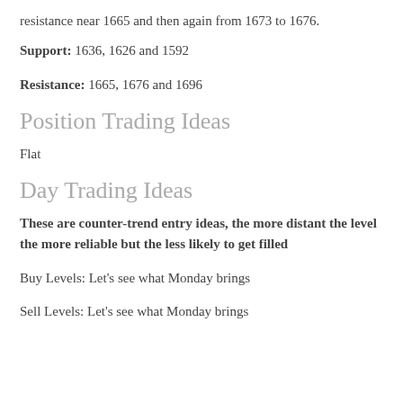resistance near 1665 and then again from 1673 to 1676.
**Support:** 1636, 1626 and 1592
**Resistance:** 1665, 1676 and 1696
Position Trading Ideas
Flat
Day Trading Ideas
**These are counter-trend entry ideas, the more distant the level the more reliable but the less likely to get filled**
Buy Levels: Let's see what Monday brings
Sell Levels: Let's see what Monday brings